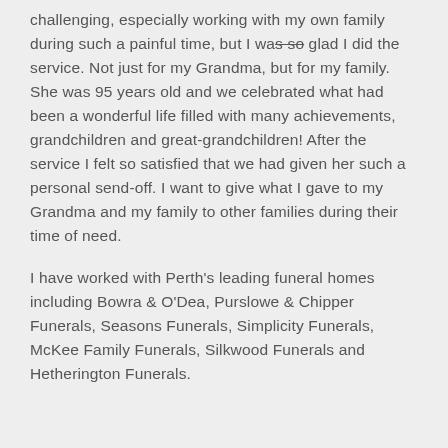challenging, especially working with my own family during such a painful time, but I was so glad I did the service. Not just for my Grandma, but for my family. She was 95 years old and we celebrated what had been a wonderful life filled with many achievements, grandchildren and great-grandchildren! After the service I felt so satisfied that we had given her such a personal send-off. I want to give what I gave to my Grandma and my family to other families during their time of need.
I have worked with Perth's leading funeral homes including Bowra & O'Dea, Purslowe & Chipper Funerals, Seasons Funerals, Simplicity Funerals, McKee Family Funerals, Silkwood Funerals and Hetherington Funerals.